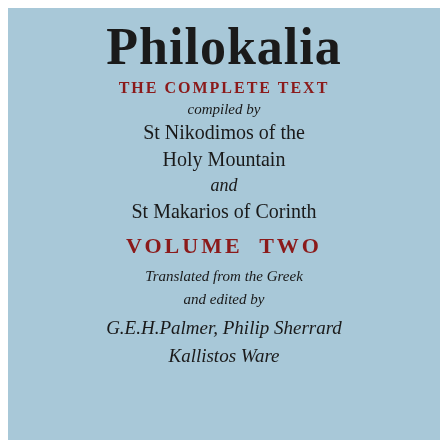Philokalia
THE COMPLETE TEXT
compiled by
St Nikodimos of the
Holy Mountain
and
St Makarios of Corinth
VOLUME TWO
Translated from the Greek
and edited by
G.E.H.Palmer, Philip Sherrard
Kallistos Ware